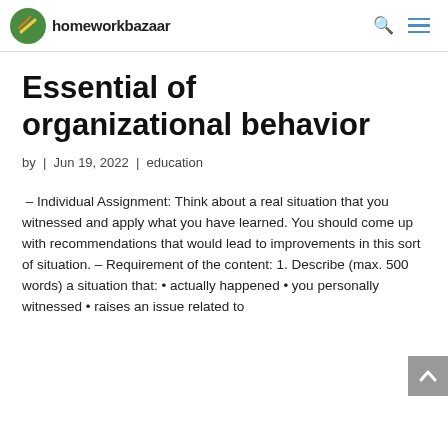homeworkbazaar
Essential of organizational behavior
by | Jun 19, 2022 | education
– Individual Assignment: Think about a real situation that you witnessed and apply what you have learned. You should come up with recommendations that would lead to improvements in this sort of situation. – Requirement of the content: 1. Describe (max. 500 words) a situation that: • actually happened • you personally witnessed • raises an issue related to